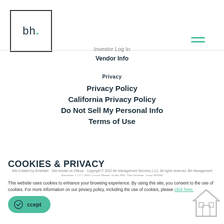[Figure (logo): BH Management logo: square border with lowercase 'bh.' text, dot in teal/green]
[Figure (other): Hamburger menu icon with two teal horizontal lines]
Investor Log In
Vendor Info
Privacy
Privacy Policy
California Privacy Policy
Do Not Sell My Personal Info
Terms of Use
COOKIES & PRIVACY
Site Created by iEntertain  Site Hosted on Zillious  Copyright © 2022 BH Management Services, LLC. All rights reserved. BH Management Services, LLC | 400 Locust Street, Suite 790, Des Moines, Iowa 50309
This website uses cookies to enhance your browsing experience. By using this site, you consent to the use of cookies. For more information on our privacy policy, including the use of cookies, please click here.